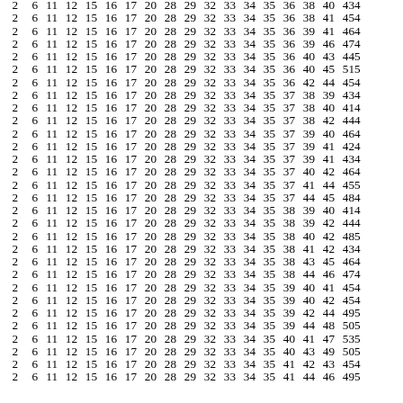| 2 | 6 | 11 | 12 | 15 | 16 | 17 | 20 | 28 | 29 | 32 | 33 | 34 | 35 | 36 | 38 | 40 | 43 | 4 |
| 2 | 6 | 11 | 12 | 15 | 16 | 17 | 20 | 28 | 29 | 32 | 33 | 34 | 35 | 36 | 38 | 41 | 45 | 4 |
| 2 | 6 | 11 | 12 | 15 | 16 | 17 | 20 | 28 | 29 | 32 | 33 | 34 | 35 | 36 | 39 | 41 | 46 | 4 |
| 2 | 6 | 11 | 12 | 15 | 16 | 17 | 20 | 28 | 29 | 32 | 33 | 34 | 35 | 36 | 39 | 46 | 47 | 4 |
| 2 | 6 | 11 | 12 | 15 | 16 | 17 | 20 | 28 | 29 | 32 | 33 | 34 | 35 | 36 | 40 | 43 | 44 | 5 |
| 2 | 6 | 11 | 12 | 15 | 16 | 17 | 20 | 28 | 29 | 32 | 33 | 34 | 35 | 36 | 40 | 45 | 51 | 5 |
| 2 | 6 | 11 | 12 | 15 | 16 | 17 | 20 | 28 | 29 | 32 | 33 | 34 | 35 | 36 | 42 | 44 | 45 | 4 |
| 2 | 6 | 11 | 12 | 15 | 16 | 17 | 20 | 28 | 29 | 32 | 33 | 34 | 35 | 37 | 38 | 39 | 43 | 4 |
| 2 | 6 | 11 | 12 | 15 | 16 | 17 | 20 | 28 | 29 | 32 | 33 | 34 | 35 | 37 | 38 | 40 | 41 | 4 |
| 2 | 6 | 11 | 12 | 15 | 16 | 17 | 20 | 28 | 29 | 32 | 33 | 34 | 35 | 37 | 38 | 42 | 44 | 4 |
| 2 | 6 | 11 | 12 | 15 | 16 | 17 | 20 | 28 | 29 | 32 | 33 | 34 | 35 | 37 | 39 | 40 | 46 | 4 |
| 2 | 6 | 11 | 12 | 15 | 16 | 17 | 20 | 28 | 29 | 32 | 33 | 34 | 35 | 37 | 39 | 41 | 42 | 4 |
| 2 | 6 | 11 | 12 | 15 | 16 | 17 | 20 | 28 | 29 | 32 | 33 | 34 | 35 | 37 | 39 | 41 | 43 | 4 |
| 2 | 6 | 11 | 12 | 15 | 16 | 17 | 20 | 28 | 29 | 32 | 33 | 34 | 35 | 37 | 40 | 42 | 46 | 4 |
| 2 | 6 | 11 | 12 | 15 | 16 | 17 | 20 | 28 | 29 | 32 | 33 | 34 | 35 | 37 | 41 | 44 | 45 | 5 |
| 2 | 6 | 11 | 12 | 15 | 16 | 17 | 20 | 28 | 29 | 32 | 33 | 34 | 35 | 37 | 44 | 45 | 48 | 4 |
| 2 | 6 | 11 | 12 | 15 | 16 | 17 | 20 | 28 | 29 | 32 | 33 | 34 | 35 | 38 | 39 | 40 | 41 | 4 |
| 2 | 6 | 11 | 12 | 15 | 16 | 17 | 20 | 28 | 29 | 32 | 33 | 34 | 35 | 38 | 39 | 42 | 44 | 4 |
| 2 | 6 | 11 | 12 | 15 | 16 | 17 | 20 | 28 | 29 | 32 | 33 | 34 | 35 | 38 | 40 | 42 | 48 | 5 |
| 2 | 6 | 11 | 12 | 15 | 16 | 17 | 20 | 28 | 29 | 32 | 33 | 34 | 35 | 38 | 41 | 42 | 43 | 4 |
| 2 | 6 | 11 | 12 | 15 | 16 | 17 | 20 | 28 | 29 | 32 | 33 | 34 | 35 | 38 | 43 | 45 | 46 | 4 |
| 2 | 6 | 11 | 12 | 15 | 16 | 17 | 20 | 28 | 29 | 32 | 33 | 34 | 35 | 38 | 44 | 46 | 47 | 4 |
| 2 | 6 | 11 | 12 | 15 | 16 | 17 | 20 | 28 | 29 | 32 | 33 | 34 | 35 | 39 | 40 | 41 | 45 | 4 |
| 2 | 6 | 11 | 12 | 15 | 16 | 17 | 20 | 28 | 29 | 32 | 33 | 34 | 35 | 39 | 40 | 42 | 45 | 4 |
| 2 | 6 | 11 | 12 | 15 | 16 | 17 | 20 | 28 | 29 | 32 | 33 | 34 | 35 | 39 | 42 | 44 | 49 | 5 |
| 2 | 6 | 11 | 12 | 15 | 16 | 17 | 20 | 28 | 29 | 32 | 33 | 34 | 35 | 39 | 44 | 48 | 50 | 5 |
| 2 | 6 | 11 | 12 | 15 | 16 | 17 | 20 | 28 | 29 | 32 | 33 | 34 | 35 | 40 | 41 | 47 | 53 | 5 |
| 2 | 6 | 11 | 12 | 15 | 16 | 17 | 20 | 28 | 29 | 32 | 33 | 34 | 35 | 40 | 43 | 49 | 50 | 5 |
| 2 | 6 | 11 | 12 | 15 | 16 | 17 | 20 | 28 | 29 | 32 | 33 | 34 | 35 | 41 | 42 | 43 | 45 | 4 |
| 2 | 6 | 11 | 12 | 15 | 16 | 17 | 20 | 28 | 29 | 32 | 33 | 34 | 35 | 41 | 44 | 46 | 49 | 5 |